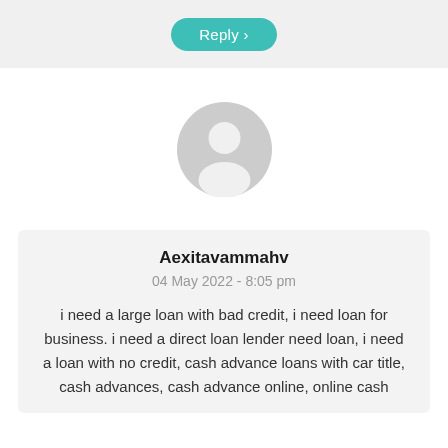[Figure (other): Reply button - teal rounded pill button with text 'Reply >']
[Figure (other): Generic user avatar icon - grey circle with person silhouette]
Aexitavammahv
04 May 2022 - 8:05 pm
i need a large loan with bad credit, i need loan for business. i need a direct loan lender need loan, i need a loan with no credit, cash advance loans with car title, cash advances, cash advance online, online cash